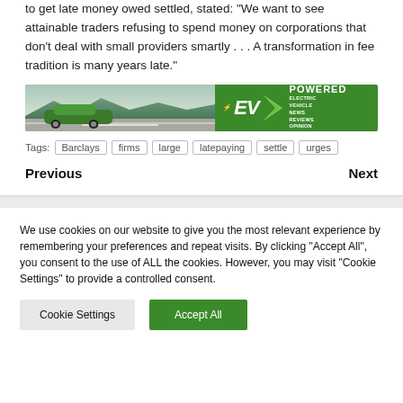commissioner, answerable for serving to small companies to get late money owed settled, stated: “We want to see attainable traders refusing to spend money on corporations that don’t deal with small providers smartly . . . A transformation in fee tradition is many years late.”
[Figure (photo): Advertisement banner for EV Powered showing a green electric car on a road with mountains in background, and the EV Powered logo with text ELECTRIC VEHICLE NEWS REVIEWS OPINION on a green background]
Tags: Barclays | firms | large | latepaying | settle | urges
Previous   Next
We use cookies on our website to give you the most relevant experience by remembering your preferences and repeat visits. By clicking “Accept All”, you consent to the use of ALL the cookies. However, you may visit "Cookie Settings" to provide a controlled consent.